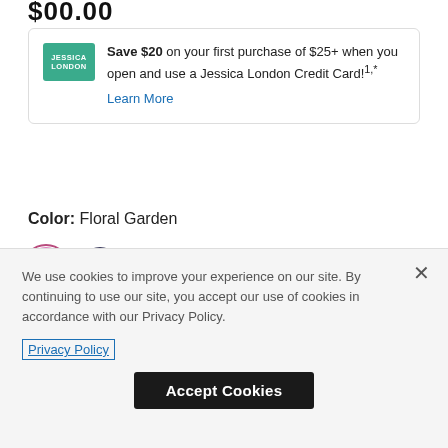$00.00
Save $20 on your first purchase of $25+ when you open and use a Jessica London Credit Card!1,* Learn More
Color: Floral Garden
[Figure (illustration): Two circular color swatches: first is pink/floral (selected with pink border), second is dark blue/floral pattern]
Size: Please select
Size Chart
4  6  8  10  12  14 (partial size buttons)
We use cookies to improve your experience on our site. By continuing to use our site, you accept our use of cookies in accordance with our Privacy Policy.
Privacy Policy
Accept Cookies